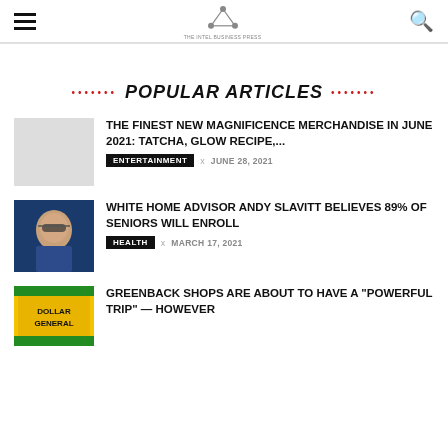[hamburger menu] [logo] [search icon]
POPULAR ARTICLES
THE FINEST NEW MAGNIFICENCE MERCHANDISE IN JUNE 2021: TATCHA, GLOW RECIPE,... | ENTERTAINMENT | JUNE 28, 2021
[Figure (photo): Photo of a man with glasses speaking, blue background]
WHITE HOME ADVISOR ANDY SLAVITT BELIEVES 89% OF SENIORS WILL ENROLL | HEALTH | MARCH 17, 2021
[Figure (photo): Photo of Dollar General store sign]
GREENBACK SHOPS ARE ABOUT TO HAVE A "POWERFUL TRIP" — HOWEVER